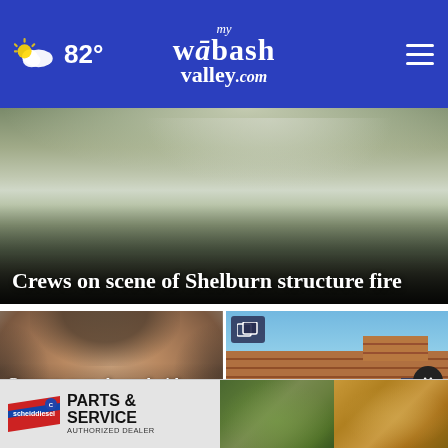82° mywabashvalley.com
[Figure (photo): Smoke and fire at a structure in Shelburn; emergency vehicles and smoke-filled trees visible]
Crews on scene of Shelburn structure fire
[Figure (photo): Mugshot of an older white male with long gray hair; height measurement lines visible on background]
Greenup man charged with murder in Cumberland County
[Figure (photo): Brick building exterior against blue sky; gallery icon overlay in top left corner]
These Indiana … re
[Figure (advertisement): Scheid Diesel Parts & Service Authorized Dealer ad banner with thumbnail images of parts and a truck]